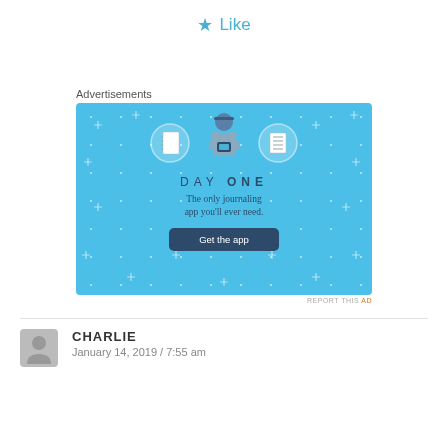★ Like
Advertisements
[Figure (illustration): Day One app advertisement banner with light blue background. Shows a cartoon person holding a phone, flanked by two circular icons (notebook and checklist). Text reads 'DAY ONE – The only journaling app you'll ever need.' with a dark 'Get the app' button.]
REPORT THIS AD
CHARLIE
January 14, 2019 / 7:55 am